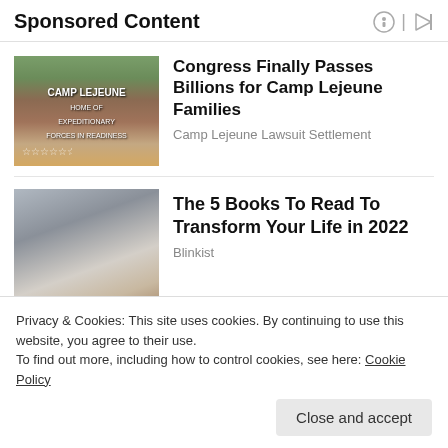Sponsored Content
[Figure (photo): Camp Lejeune entrance sign on brick wall with trees and people in background]
Congress Finally Passes Billions for Camp Lejeune Families
Camp Lejeune Lawsuit Settlement
[Figure (photo): Portrait of a young blonde woman with red lipstick against a grey background]
The 5 Books To Read To Transform Your Life in 2022
Blinkist
Privacy & Cookies: This site uses cookies. By continuing to use this website, you agree to their use.
To find out more, including how to control cookies, see here: Cookie Policy
Close and accept